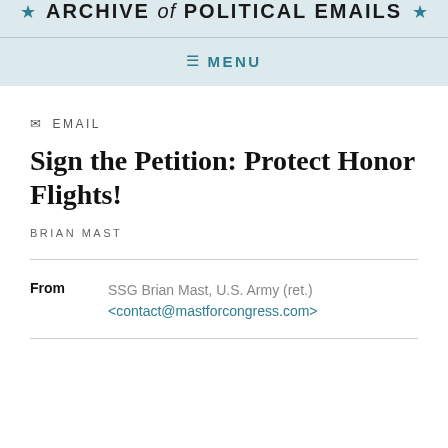★ ARCHIVE of POLITICAL EMAILS ★
≡ MENU
EMAIL
Sign the Petition: Protect Honor Flights!
BRIAN MAST
| From |  |
| --- | --- |
| From | SSG Brian Mast, U.S. Army (ret.) <contact@mastforcongress.com> |